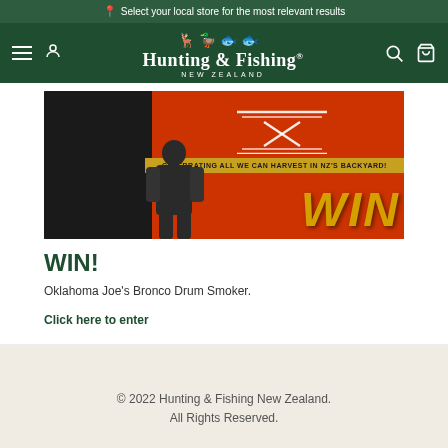Select your local store for the most relevant results
[Figure (logo): Hunting & Fishing New Zealand logo with animal silhouettes (deer, duck, fish) and stylized text]
[Figure (photo): Promotional banner image with orange/red background, crossed tools, 'CELEBRATING ALL WE CAN HARVEST IN NZ'S BACKYARD!' text on golden ribbon, person in foreground, large WIN text in gold]
WIN!
Oklahoma Joe's Bronco Drum Smoker.
Click here to enter
© 2022 Hunting & Fishing New Zealand. All Rights Reserved.